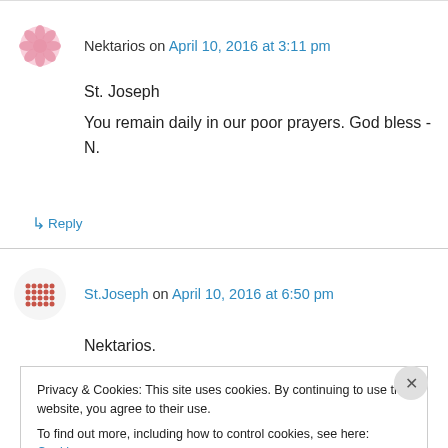Nektarios on April 10, 2016 at 3:11 pm
St. Joseph
You remain daily in our poor prayers. God bless - N.
↳ Reply
St.Joseph on April 10, 2016 at 6:50 pm
Nektarios.
Privacy & Cookies: This site uses cookies. By continuing to use this website, you agree to their use.
To find out more, including how to control cookies, see here: Cookie Policy
Close and accept